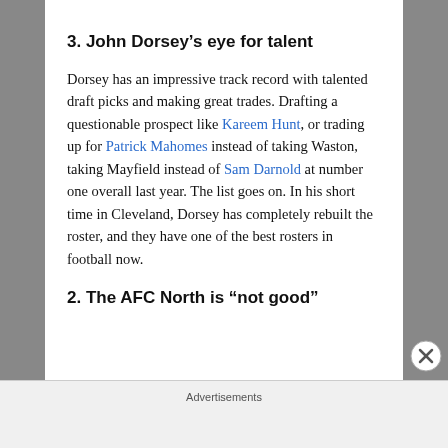3. John Dorsey's eye for talent
Dorsey has an impressive track record with talented draft picks and making great trades. Drafting a questionable prospect like Kareem Hunt, or trading up for Patrick Mahomes instead of taking Waston, taking Mayfield instead of Sam Darnold at number one overall last year. The list goes on. In his short time in Cleveland, Dorsey has completely rebuilt the roster, and they have one of the best rosters in football now.
2. The AFC North is “not good”
Advertisements